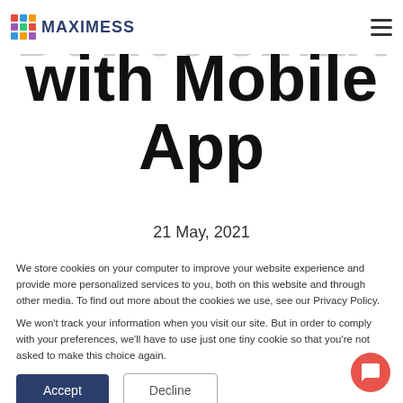MAXIMESS
Device smart with Mobile App
21 May, 2021
We store cookies on your computer to improve your website experience and provide more personalized services to you, both on this website and through other media. To find out more about the cookies we use, see our Privacy Policy.

We won't track your information when you visit our site. But in order to comply with your preferences, we'll have to use just one tiny cookie so that you're not asked to make this choice again.
Accept | Decline